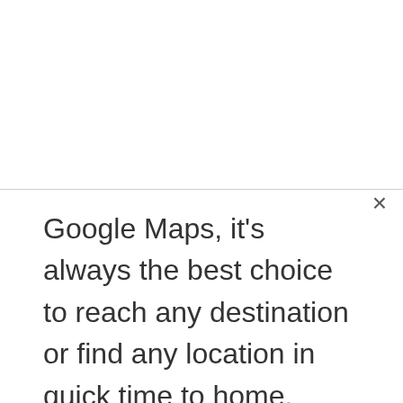Google Maps, it's always the best choice to reach any destination or find any location in quick time to home. Google Maps and Navigation Has been an excellent feature that describes the direction turn … Read more
How to Drop a Pin in Google Maps on Your Computer or